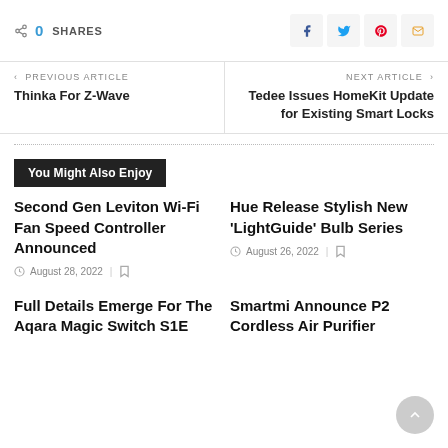0 SHARES
< PREVIOUS ARTICLE — Thinka For Z-Wave
NEXT ARTICLE > — Tedee Issues HomeKit Update for Existing Smart Locks
You Might Also Enjoy
Second Gen Leviton Wi-Fi Fan Speed Controller Announced
August 28, 2022
Hue Release Stylish New 'LightGuide' Bulb Series
August 26, 2022
Full Details Emerge For The Aqara Magic Switch S1E
Smartmi Announce P2 Cordless Air Purifier